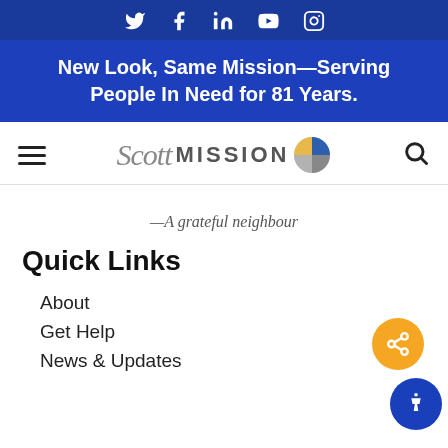[Figure (screenshot): Social media icons bar: Twitter, Facebook, LinkedIn, YouTube, Instagram in white on blue background]
New Look, Same Mission—Serving People In Need for 81 Years.
[Figure (logo): Scott Mission logo with circular icon in blue, yellow, and grey quadrants]
—A grateful neighbour
Quick Links
About
Get Help
News & Updates